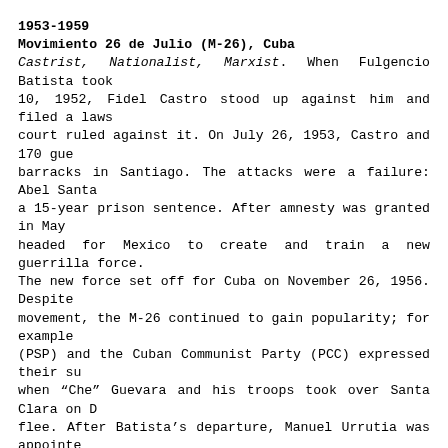1953-1959
Movimiento 26 de Julio (M-26), Cuba
Castrist, Nationalist, Marxist. When Fulgencio Batista took 10, 1952, Fidel Castro stood up against him and filed a laws court ruled against it. On July 26, 1953, Castro and 170 gue barracks in Santiago. The attacks were a failure: Abel Santa a 15-year prison sentence. After amnesty was granted in May headed for Mexico to create and train a new guerrilla force. The new force set off for Cuba on November 26, 1956. Despite movement, the M-26 continued to gain popularity; for example (PSP) and the Cuban Communist Party (PCC) expressed their su when “Che” Guevara and his troops took over Santa Clara on D flee. After Batista’s departure, Manuel Urrutia was appointe minister. Eventually, Fidel Castro became the nation’s leade groups that succeeded in overthrowing a government and takir power for over 50 years. Recently because of health concerns of the island, although Fidel seems to still be active in th Leaders: Fidel Castro, Raúl Castro, Camilo Cienfuegos, Ernes Frank País, René Ramos Latour, David Salvado and Abel Santam
1959-1960
Uturuncos, Argentina
Peronist, Castrist. “Uturunco” means, “tiger-man” in Quchua